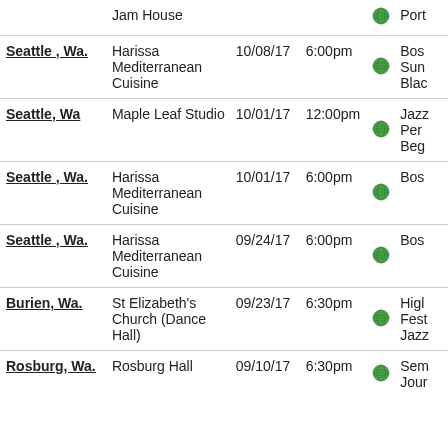| City | Venue | Date | Time |  | Event |
| --- | --- | --- | --- | --- | --- |
|  | Jam House |  |  | globe | Port |
| Seattle, Wa. | Harissa Mediterranean Cuisine | 10/08/17 | 6:00pm | globe | Bos Sun Blac |
| Seattle, Wa | Maple Leaf Studio | 10/01/17 | 12:00pm | globe | Jazz Per Beg |
| Seattle, Wa. | Harissa Mediterranean Cuisine | 10/01/17 | 6:00pm | globe | Bos |
| Seattle, Wa. | Harissa Mediterranean Cuisine | 09/24/17 | 6:00pm | globe | Bos |
| Burien, Wa. | St Elizabeth's Church (Dance Hall) | 09/23/17 | 6:30pm | globe | Higl Fest Jazz |
| Rosburg, Wa. | Rosburg Hall | 09/10/17 | 6:30pm | globe | Sem Jour |